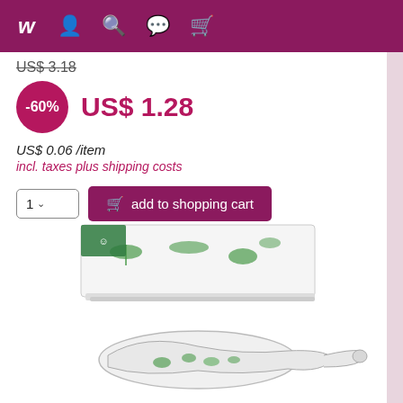[Figure (screenshot): E-commerce website navigation bar with logo and icons for account, search, chat, and shopping cart on a dark pink/magenta background]
US$ 3.18
-60%   US$ 1.28
US$ 0.06 /item
incl. taxes plus shipping costs
1  add to shopping cart
[Figure (photo): Product photo showing a box of herb-printed napkins and a ceramic spoon rest with green herb illustrations on white background]